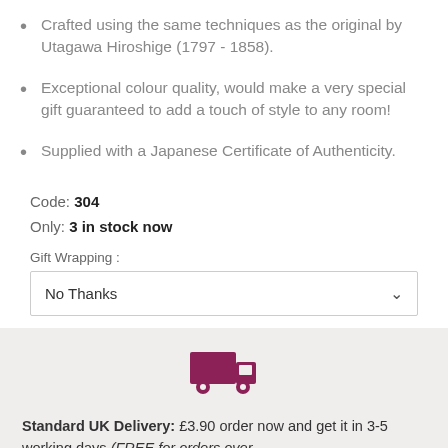Crafted using the same techniques as the original by Utagawa Hiroshige (1797 - 1858).
Exceptional colour quality, would make a very special gift guaranteed to add a touch of style to any room!
Supplied with a Japanese Certificate of Authenticity.
Code: 304
Only: 3 in stock now
Gift Wrapping :
No Thanks
[Figure (illustration): Dark magenta/burgundy delivery truck icon]
Standard UK Delivery: £3.90 order now and get it in 3-5 working days (FREE for orders over £60+)